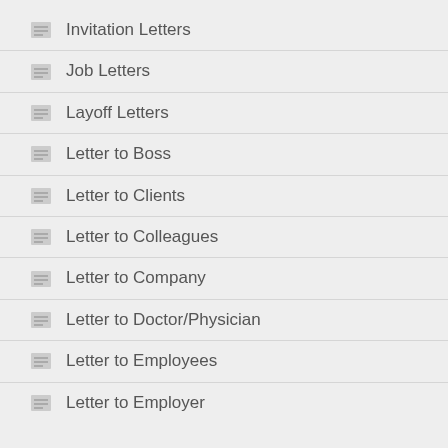Invitation Letters
Job Letters
Layoff Letters
Letter to Boss
Letter to Clients
Letter to Colleagues
Letter to Company
Letter to Doctor/Physician
Letter to Employees
Letter to Employer